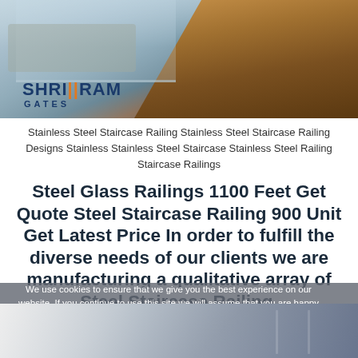[Figure (photo): Modern glass and steel staircase railing with wood floor, Shriram Gates logo overlaid]
Stainless Steel Staircase Railing Stainless Steel Staircase Railing Designs Stainless Stainless Steel Staircase Stainless Steel Railing Staircase Railings
Steel Glass Railings 1100 Feet Get Quote Steel Staircase Railing 900 Unit Get Latest Price In order to fulfill the diverse needs of our clients we are manufacturing a qualitative array of Steel Staircase Railing.
We use cookies to ensure that we give you the best experience on our website. If you continue to use this site we will assume that you are happy with it.
[Figure (photo): Bottom portion of stainless steel staircase railing photo]